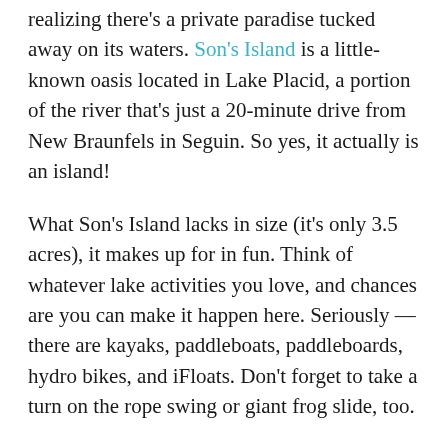realizing there's a private paradise tucked away on its waters. Son's Island is a little-known oasis located in Lake Placid, a portion of the river that's just a 20-minute drive from New Braunfels in Seguin. So yes, it actually is an island!
What Son's Island lacks in size (it's only 3.5 acres), it makes up for in fun. Think of whatever lake activities you love, and chances are you can make it happen here. Seriously — there are kayaks, paddleboats, paddleboards, hydro bikes, and iFloats. Don't forget to take a turn on the rope swing or giant frog slide, too.
If you're just looking for a place to hang out during the day, you can rent one of their cabanas, which come with convenient amenities like a picnic table, hammock, barbecue pit, and private swimming and fishing dock. If